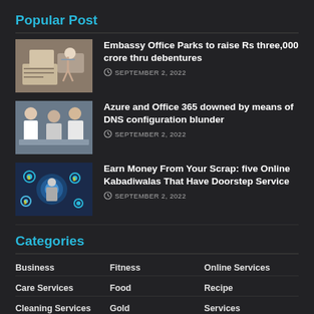Popular Post
[Figure (photo): Person writing on documents with tablet on desk]
Embassy Office Parks to raise Rs three,000 crore thru debentures
SEPTEMBER 2, 2022
[Figure (photo): Group of people in business meeting discussion]
Azure and Office 365 downed by means of DNS configuration blunder
SEPTEMBER 2, 2022
[Figure (photo): Digital technology concept with gears and money icons]
Earn Money From Your Scrap: five Online Kabadiwalas That Have Doorstep Service
SEPTEMBER 2, 2022
Categories
Business
Fitness
Online Services
Care Services
Food
Recipe
Cleaning Services
Gold
Services